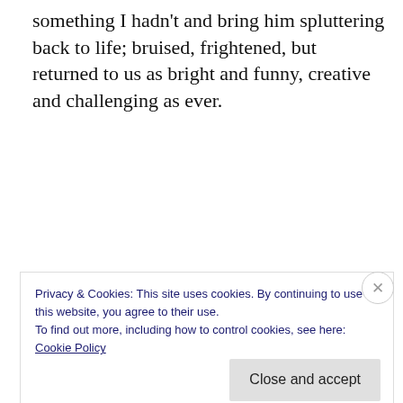something I hadn't and bring him spluttering back to life; bruised, frightened, but returned to us as bright and funny, creative and challenging as ever.
[Figure (other): Advertisements banner with gradient orange to purple background with decorative icons]
Later that first day, I watched instead as they carefully navigated our narrow stairs and
Privacy & Cookies: This site uses cookies. By continuing to use this website, you agree to their use.
To find out more, including how to control cookies, see here:
Cookie Policy
Close and accept